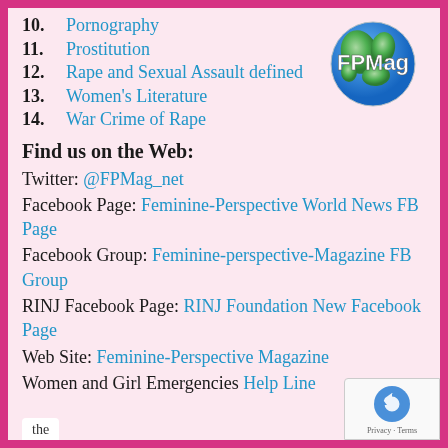10. Pornography
11. Prostitution
12. Rape and Sexual Assault defined
13. Women's Literature
14. War Crime of Rape
Find us on the Web:
Twitter: @FPMag_net
Facebook Page: Feminine-Perspective World News FB Page
Facebook Group: Feminine-perspective-Magazine FB Group
RINJ Facebook Page: RINJ Foundation New Facebook Page
Web Site: Feminine-Perspective Magazine
Women and Girl Emergencies Help Line